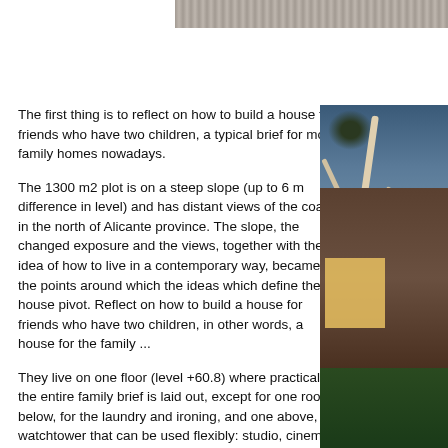[Figure (photo): Partial view of a grayscale/textured image at the top of the page, cropped header image of what appears to be an architectural subject]
The first thing is to reflect on how to build a house for friends who have two children, a typical brief for most family homes nowadays.
The 1300 m2 plot is on a steep slope (up to 6 m difference in level) and has distant views of the coast in the north of Alicante province. The slope, the changed exposure and the views, together with the idea of how to live in a contemporary way, became the points around which the ideas which define the house pivot. Reflect on how to build a house for friends who have two children, in other words, a house for the family ...
They live on one floor (level +60.8) where practically the entire family brief is laid out, except for one room below, for the laundry and ironing, and one above, a watchtower that can be used flexibly: studio, cinema, games, etc.
The house has two sides. From the exterior it seems quite closed-off and its long stretches of
[Figure (photo): Exterior evening/night photograph of a modern house with large windows glowing with warm light, a white-barked tree in the foreground, dark wood cladding on the building, and a green lawn. Sky is twilight blue.]